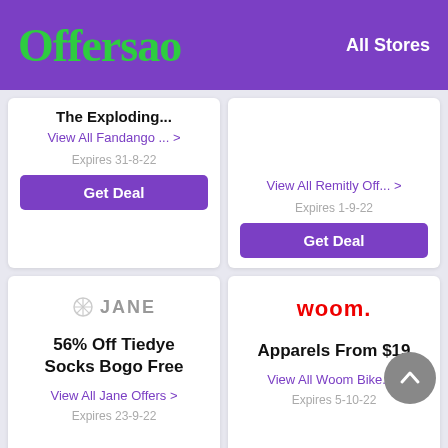Offersao — All Stores
The Exploding...
View All Fandango ... >
Expires 31-8-22
Get Deal
View All Remitly Off... >
Expires 1-9-22
Get Deal
[Figure (logo): JANE store logo with a circular asterisk/sparkle icon and the word JANE in gray]
56% Off Tiedye Socks Bogo Free
View All Jane Offers >
Expires 23-9-22
[Figure (logo): woom logo in red bold text]
Apparels From $19
View All Woom Bike.. >
Expires 5-10-22